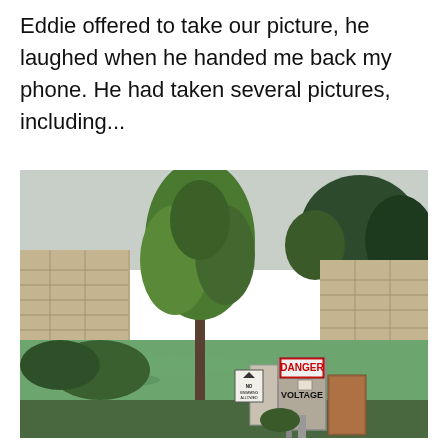Eddie offered to take our picture, he laughed when he handed me back my phone. He had taken several pictures, including...
[Figure (photo): Outdoor photograph showing a green-water quarry or pond, stone walls, trees, and in the foreground industrial electrical equipment with a red and white 'DANGER VOLTAGE' sign and a smaller 'NO SWIMMING ALLOWED' sign.]